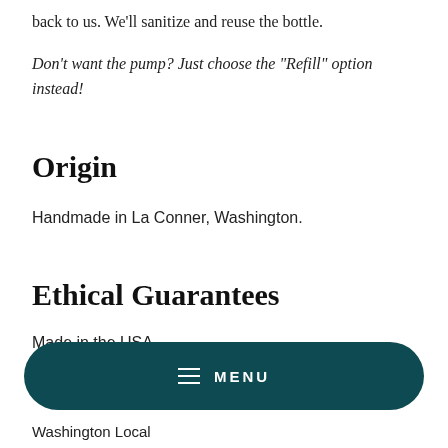back to us. We'll sanitize and reuse the bottle.
Don't want the pump? Just choose the "Refill" option instead!
Origin
Handmade in La Conner, Washington.
Ethical Guarantees
Made in the USA
[Figure (other): Dark teal rounded pill-shaped menu bar with hamburger icon and MENU text]
Washington Local